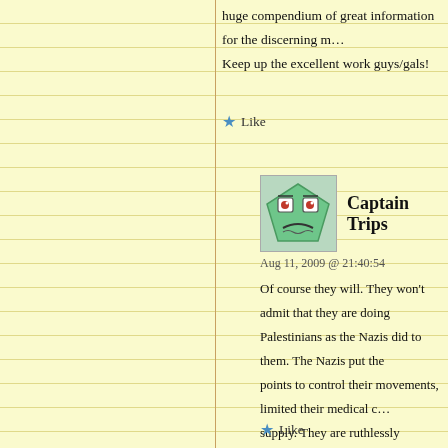huge compendium of great information for the discerning m… Keep up the excellent work guys/gals!
★ Like
[Figure (illustration): Green cartoon avatar/icon of a character with big eyes and a frown, pentagon-shaped head]
Captain Trips
Aug 11, 2009 @ 21:40:54
Of course they will. They won't admit that they are doing Palestinians as the Nazis did to them. The Nazis put the points to control their movements, limited their medical c… supply. They are ruthlessly exterminating the Palestinian… eradicate them from the face of th3e land. Let's not forge and elderly people the Zionists executed in 1948 during t… Palestine. The Zionist were just as brutal as the Nazis a… order to instill fear in the Palestinian people so they woul…
The most disgusting tactic of all is their use of Hollywood… order to manipulate the world into thinking they were hel… during WWII. Nothing could be further from the truth. Th… escalation of WWI and directly led to the outbreak of WW…
★ Like